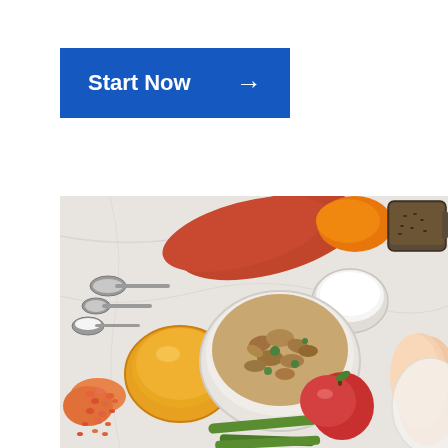[Figure (other): Blue button with white text 'Start Now' and right-pointing arrow]
[Figure (photo): Overhead flat-lay photo of pet food ingredients on a white marble surface: sweet potatoes, a bowl of chunky food, apple, green beans, red lentils, oil, salt, flaxseeds in a measuring cup, chicken breast, and measuring spoons]